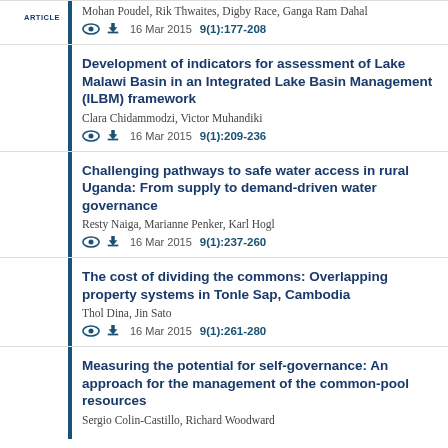ARTICLE — Mohan Poudel, Rik Thwaites, Digby Race, Ganga Ram Dahal — 16 Mar 2015 9(1):177-208
Development of indicators for assessment of Lake Malawi Basin in an Integrated Lake Basin Management (ILBM) framework — Clara Chidammodzi, Victor Muhandiki — 16 Mar 2015 9(1):209-236
Challenging pathways to safe water access in rural Uganda: From supply to demand-driven water governance — Resty Naiga, Marianne Penker, Karl Hogl — 16 Mar 2015 9(1):237-260
The cost of dividing the commons: Overlapping property systems in Tonle Sap, Cambodia — Thol Dina, Jin Sato — 16 Mar 2015 9(1):261-280
Measuring the potential for self-governance: An approach for the management of the common-pool resources — Sergio Colin-Castillo, Richard Woodward